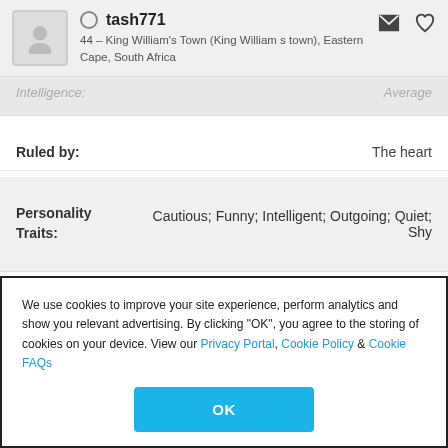tash771 — 44 – King William's Town (King William s town), Eastern Cape, South Africa
Intelligence: Average
Ruled by: The heart
Personality Traits: Cautious; Funny; Intelligent; Outgoing; Quiet; Shy
Valued Qualities: Charity; Faithfulness; Forgiveness; Friendliness; Honesty; Hope; Humility; Humour; Kindness; Mercy; Patience; Self-control; Tolerance
We use cookies to improve your site experience, perform analytics and show you relevant advertising. By clicking "OK", you agree to the storing of cookies on your device. View our Privacy Portal, Cookie Policy & Cookie FAQs